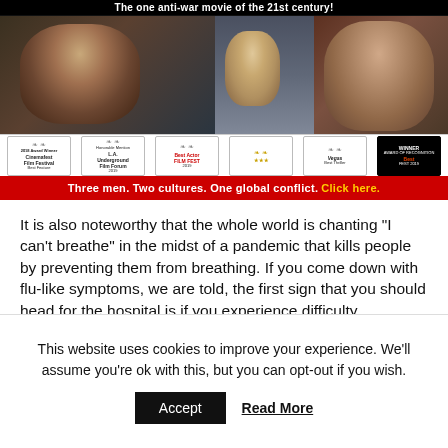[Figure (illustration): Movie advertisement banner for a film with slogan 'The one anti-war movie of the 21st century!' showing three men's faces, award laurels from Cinemafest Film Festival, L.A. Underground Film Forum, Best Actor award, and others, with red bar reading 'Three men. Two cultures. One global conflict. Click here.']
It is also noteworthy that the whole world is chanting “I can’t breathe” in the midst of a pandemic that kills people by preventing them from breathing. If you come down with flu-like symptoms, we are told, the first sign that you should head for the hospital is if you experience difficulty breathing. Those
This website uses cookies to improve your experience. We'll assume you're ok with this, but you can opt-out if you wish.